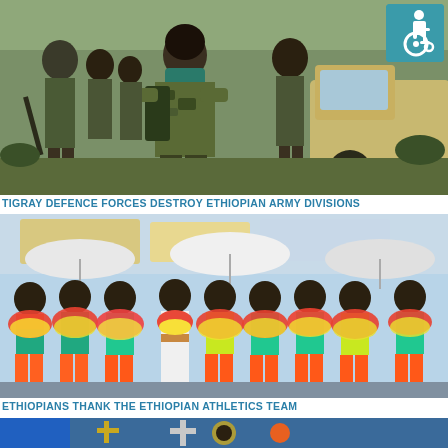[Figure (photo): Tigray Defence Forces soldiers in camouflage walking, a woman fighter prominent in foreground, military truck in background]
TIGRAY DEFENCE FORCES DESTROY ETHIOPIAN ARMY DIVISIONS
[Figure (photo): Ethiopian athletics team members in orange tracksuits and teal tops being welcomed with flower garlands, holding bouquets of red yellow and white flowers under umbrellas]
ETHIOPIANS THANK THE ETHIOPIAN ATHLETICS TEAM
[Figure (photo): Partial view of a third image showing what appears to be a religious or ceremonial event with crosses visible]
[Figure (logo): Wheelchair accessibility icon — white wheelchair symbol on teal/blue-green background square]